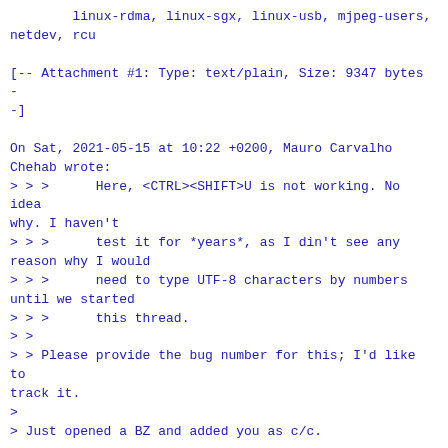linux-rdma, linux-sgx, linux-usb, mjpeg-users,
netdev, rcu
[-- Attachment #1: Type: text/plain, Size: 9347 bytes --]
On Sat, 2021-05-15 at 10:22 +0200, Mauro Carvalho Chehab wrote:
> > >      Here, <CTRL><SHIFT>U is not working. No idea why. I haven't
> > >      test it for *years*, as I din't see any reason why I would
> > >      need to type UTF-8 characters by numbers until we started
> > >      this thread.
> >
> > Please provide the bug number for this; I'd like to track it.
>
> Just opened a BZ and added you as c/c.

Thanks.

> Let's take one step back, in order to return to the intents of this
> UTF-8, as the discussions here are not centered into the patches, but
> instead, on what to do and why.
>
>.